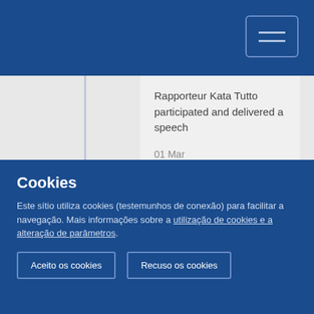Rapporteur Kata Tutto participated and delivered a speech
01 Mar
CoR ALDE coordinator of the ENVE shares best practices with mayors in Sub-Saharan
Cookies
Este sítio utiliza cookies (testemunhos de conexão) para facilitar a navegação. Mais informações sobre a utilização de cookies e a alteração de parâmetros.
Aceito os cookies
Recuso os cookies